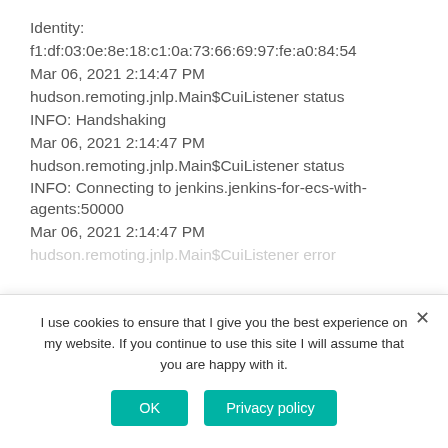Identity:
f1:df:03:0e:8e:18:c1:0a:73:66:69:97:fe:a0:84:54
Mar 06, 2021 2:14:47 PM
hudson.remoting.jnlp.Main$CuiListener status
INFO: Handshaking
Mar 06, 2021 2:14:47 PM
hudson.remoting.jnlp.Main$CuiListener status
INFO: Connecting to jenkins.jenkins-for-ecs-with-agents:50000
Mar 06, 2021 2:14:47 PM
hudson.remoting.jnlp.Main$CuiListener error
I use cookies to ensure that I give you the best experience on my website. If you continue to use this site I will assume that you are happy with it.
OK
Privacy policy